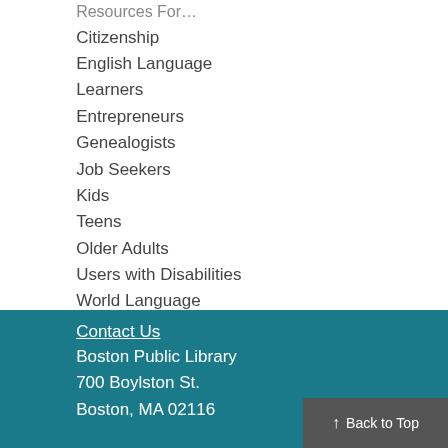Resources For...
Citizenship
English Language Learners
Entrepreneurs
Genealogists
Job Seekers
Kids
Teens
Older Adults
Users with Disabilities
World Language Collections
Read Your Way to Fenway
Contact Us
Boston Public Library
700 Boylston St.
Boston, MA 02116